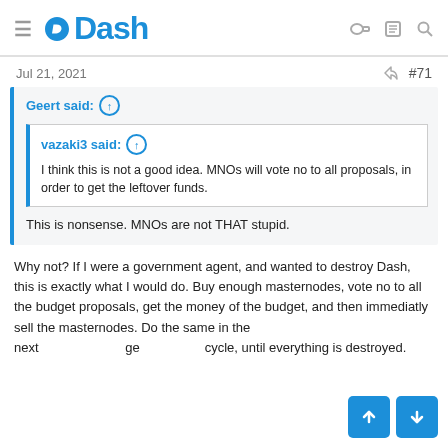Dash
Jul 21, 2021   #71
Geert said: ↑
vazaki3 said: ↑
I think this is not a good idea. MNOs will vote no to all proposals, in order to get the leftover funds.
This is nonsense. MNOs are not THAT stupid.
Why not? If I were a government agent, and wanted to destroy Dash, this is exactly what I would do. Buy enough masternodes, vote no to all the budget proposals, get the money of the budget, and then immediatly sell the masternodes. Do the same in the next budget cycle, until everything is destroyed.